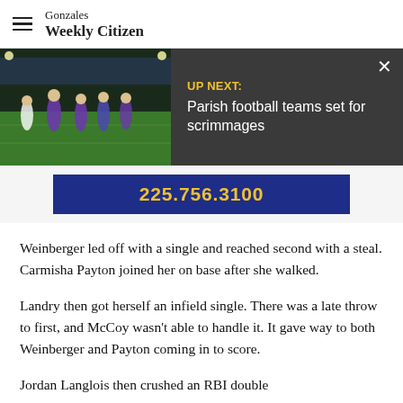Gonzales Weekly Citizen
[Figure (screenshot): UP NEXT: Parish football teams set for scrimmages — dark banner with football game thumbnail and phone number 225.756.3100]
Weinberger led off with a single and reached second with a steal. Carmisha Payton joined her on base after she walked.
Landry then got herself an infield single. There was a late throw to first, and McCoy wasn't able to handle it. It gave way to both Weinberger and Payton coming in to score.
Jordan Langlois then crushed an RBI double